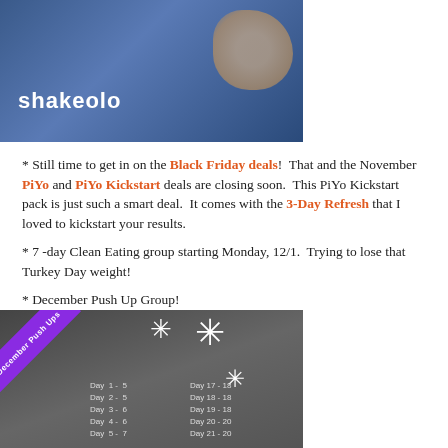[Figure (photo): Photo of person wearing a blue Shakeology shirt, hand visible in foreground]
* Still time to get in on the Black Friday deals!  That and the November PiYo and PiYo Kickstart deals are closing soon.  This PiYo Kickstart pack is just such a smart deal.  It comes with the 3-Day Refresh that I loved to kickstart your results.
* 7 -day Clean Eating group starting Monday, 12/1.  Trying to lose that Turkey Day weight!
* December Push Up Group!
[Figure (photo): December Push Ups challenge calendar graphic on grey background with purple diagonal banner, snowflake decorations, and day schedule listing Day 1-5 through Day 20-20]